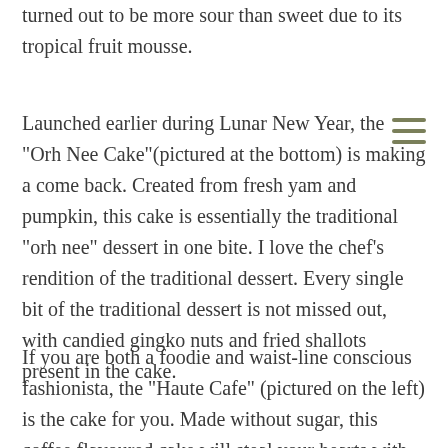turned out to be more sour than sweet due to its tropical fruit mousse.
Launched earlier during Lunar New Year, the "Orh Nee Cake"(pictured at the bottom) is making a come back. Created from fresh yam and pumpkin, this cake is essentially the traditional "orh nee" dessert in one bite. I love the chef's rendition of the traditional dessert. Every single bit of the traditional dessert is not missed out, with candied gingko nuts and fried shallots present in the cake.
If you are both a foodie and waist-line conscious fashionista, the "Haute Cafe" (pictured on the left) is the cake for you. Made without sugar, this coffee flavoured cake will steal your hearts with